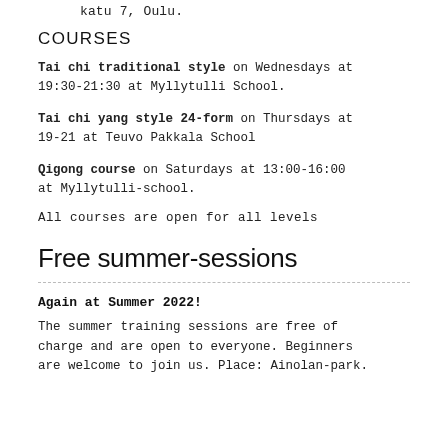katu 7, Oulu.
COURSES
Tai chi traditional style on Wednesdays at 19:30-21:30 at Myllytulli School.
Tai chi yang style 24-form on Thursdays at 19-21 at Teuvo Pakkala School
Qigong course on Saturdays at 13:00-16:00 at Myllytulli-school.
All courses are open for all levels
Free summer-sessions
Again at Summer 2022!
The summer training sessions are free of charge and are open to everyone. Beginners are welcome to join us. Place: Ainolan-park.